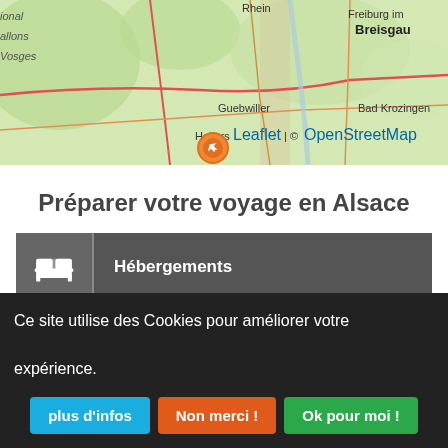[Figure (map): OpenStreetMap showing region around Guebwiller, Alsace, France with surrounding areas including Freiburg im Breisgau, Bad Krozingen, Rhein river, Ballons des Vosges regional park. An orange circular marker is placed at Guebwiller. Map attribution: Leaflet | © OpenStreetMap]
Préparer votre voyage en Alsace
Hébergements
Comment venir
Ce site utilise des Cookies pour améliorer votre expérience.
plus d'infos | Non merci ! | Ok pour moi !